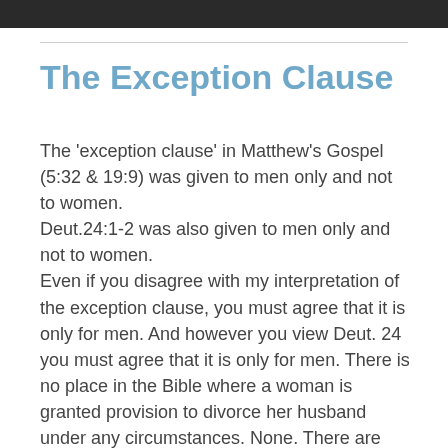[Figure (photo): Dark image bar at top of page]
The Exception Clause
The 'exception clause' in Matthew's Gospel (5:32 & 19:9) was given to men only and not to women.
Deut.24:1-2 was also given to men only and not to women.
Even if you disagree with my interpretation of the exception clause, you must agree that it is only for men. And however you view Deut. 24 you must agree that it is only for men. There is no place in the Bible where a woman is granted provision to divorce her husband under any circumstances. None. There are good reasons for separation, and sometimes